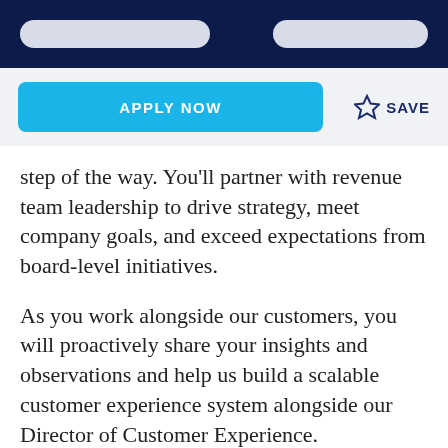APPLY NOW
SAVE
step of the way. You'll partner with revenue team leadership to drive strategy, meet company goals, and exceed expectations from board-level initiatives.
As you work alongside our customers, you will proactively share your insights and observations and help us build a scalable customer experience system alongside our Director of Customer Experience.
Sound like you? We'd love to talk!